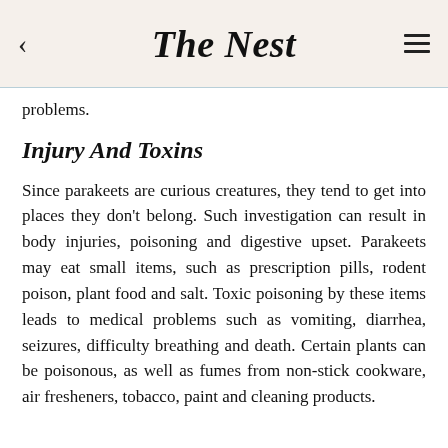The Nest
problems.
Injury And Toxins
Since parakeets are curious creatures, they tend to get into places they don't belong. Such investigation can result in body injuries, poisoning and digestive upset. Parakeets may eat small items, such as prescription pills, rodent poison, plant food and salt. Toxic poisoning by these items leads to medical problems such as vomiting, diarrhea, seizures, difficulty breathing and death. Certain plants can be poisonous, as well as fumes from non-stick cookware, air fresheners, tobacco, paint and cleaning products.